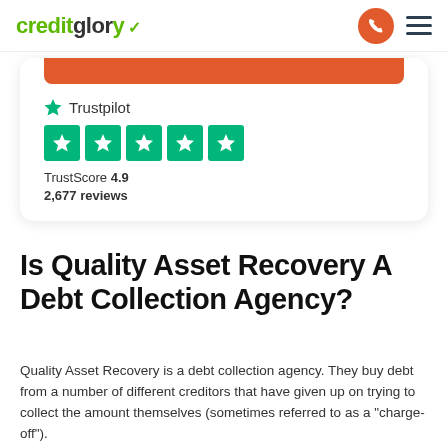creditglory
[Figure (logo): Trustpilot widget showing 5 green stars, TrustScore 4.9, 2,677 reviews]
Is Quality Asset Recovery A Debt Collection Agency?
Quality Asset Recovery is a debt collection agency. They buy debt from a number of different creditors that have given up on trying to collect the amount themselves (sometimes referred to as a "charge-off").